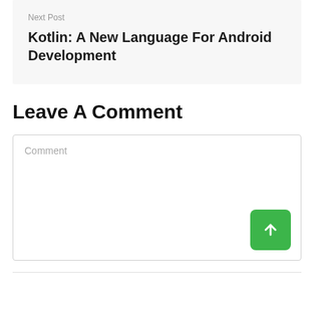Next Post
Kotlin: A New Language For Android Development
Leave A Comment
Comment
[Figure (other): Green submit button with upward arrow icon]